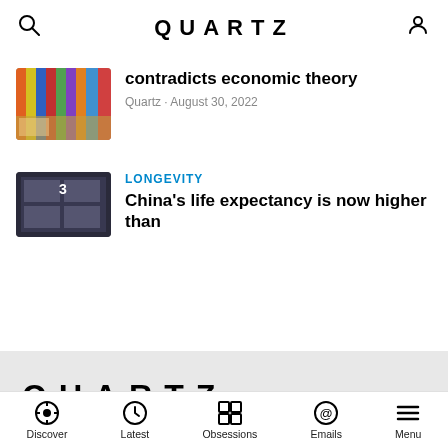QUARTZ
[Figure (photo): Thumbnail photo of colorful books or shelves]
contradicts economic theory
Quartz · August 30, 2022
[Figure (photo): Thumbnail photo of vending machine with number 3]
LONGEVITY
China's life expectancy is now higher than
[Figure (logo): QUARTZ logo in lower grey section]
Make business better™
DISCOVER
Discover   Latest   Obsessions   Emails   Menu